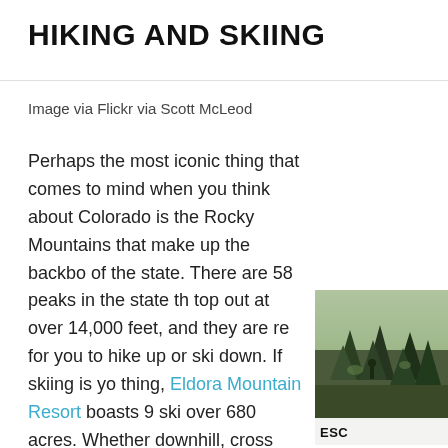HIKING AND SKIING
Image via Flickr via Scott McLeod
Perhaps the most iconic thing that comes to mind when you think about Colorado is the Rocky Mountains that make up the backbone of the state. There are 58 peaks in the state that top out at over 14,000 feet, and they are ready for you to hike up or ski down. If skiing is your thing, Eldora Mountain Resort boasts 9 ski over 680 acres. Whether downhill, cross country, or apres skis in the lodge are your thing, Eldora offers the perfect setting for new and experienced skiers alike.
[Figure (photo): A photo of a forested mountain scene, partially visible on the right side of the page, with trees and natural outdoor setting.]
ESC